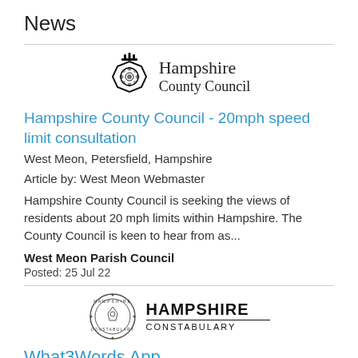News
[Figure (logo): Hampshire County Council logo with crown and rose emblem, text reading 'Hampshire County Council']
Hampshire County Council - 20mph speed limit consultation
West Meon, Petersfield, Hampshire
Article by: West Meon Webmaster
Hampshire County Council is seeking the views of residents about 20 mph limits within Hampshire. The County Council is keen to hear from as...
West Meon Parish Council
Posted: 25 Jul 22
[Figure (logo): Hampshire Constabulary logo: circular emblem with 'HAMPSHIRE CONSTABULARY' text, and bold text 'HAMPSHIRE CONSTABULARY' to the right]
What3Words App